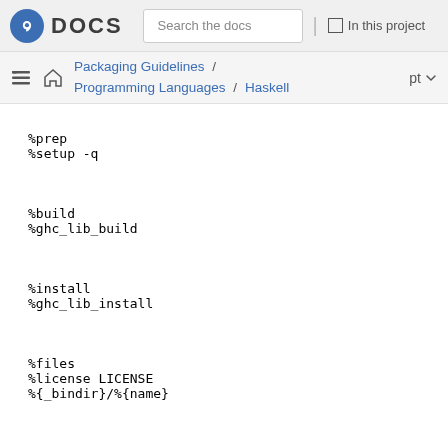Fedora DOCS | Search the docs | In this project
Packaging Guidelines / Programming Languages / Haskell | pt
%prep
%setup -q


%build
%ghc_lib_build


%install
%ghc_lib_install


%files
%license LICENSE
%{_bindir}/%{name}